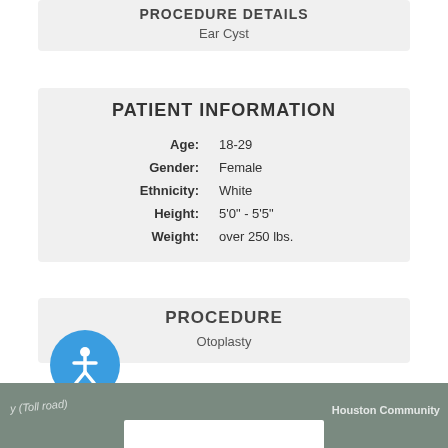PROCEDURE DETAILS
Ear Cyst
PATIENT INFORMATION
| Field | Value |
| --- | --- |
| Age: | 18-29 |
| Gender: | Female |
| Ethnicity: | White |
| Height: | 5'0" - 5'5" |
| Weight: | over 250 lbs. |
PROCEDURE
Otoplasty
[Figure (illustration): Blue circular accessibility icon with white stick figure person]
[Figure (map): Map strip showing Houston Community area with road labels]